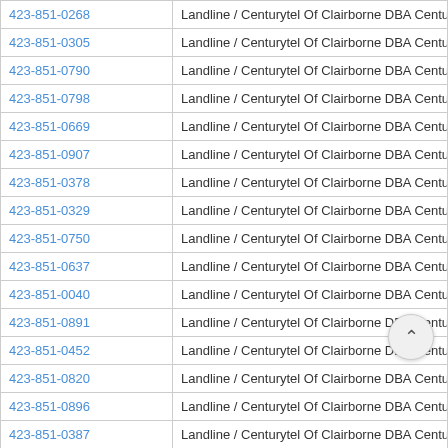| Phone Number | Line Type / Carrier |
| --- | --- |
| 423-851-0268 | Landline / Centurytel Of Clairborne DBA Centurylink-claiborne |
| 423-851-0305 | Landline / Centurytel Of Clairborne DBA Centurylink-claiborne |
| 423-851-0790 | Landline / Centurytel Of Clairborne DBA Centurylink-claiborne |
| 423-851-0798 | Landline / Centurytel Of Clairborne DBA Centurylink-claiborne |
| 423-851-0669 | Landline / Centurytel Of Clairborne DBA Centurylink-claiborne |
| 423-851-0907 | Landline / Centurytel Of Clairborne DBA Centurylink-claiborne |
| 423-851-0378 | Landline / Centurytel Of Clairborne DBA Centurylink-claiborne |
| 423-851-0329 | Landline / Centurytel Of Clairborne DBA Centurylink-claiborne |
| 423-851-0750 | Landline / Centurytel Of Clairborne DBA Centurylink-claiborne |
| 423-851-0637 | Landline / Centurytel Of Clairborne DBA Centurylink-claiborne |
| 423-851-0040 | Landline / Centurytel Of Clairborne DBA Centurylink-claiborne |
| 423-851-0891 | Landline / Centurytel Of Clairborne DBA Centurylink-claiborne |
| 423-851-0452 | Landline / Centurytel Of Clairborne DBA Centurylink-claiborne |
| 423-851-0820 | Landline / Centurytel Of Clairborne DBA Centurylink-claiborne |
| 423-851-0896 | Landline / Centurytel Of Clairborne DBA Centurylink-c |
| 423-851-0387 | Landline / Centurytel Of Clairborne DBA Centurylink-cl |
| 423-851-0181 | Landline / Centurytel Of Clairborne DBA Centurylink-claiborne |
| 423-851-0969 | Landline / Centurytel Of Clairborne DBA Centurylink-claiborne |